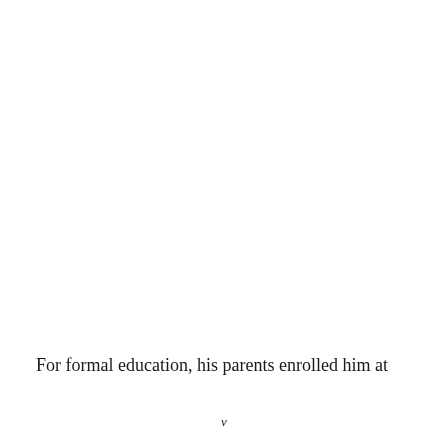For formal education, his parents enrolled him at
v